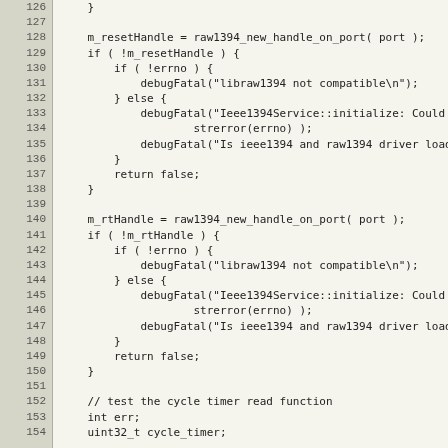[Figure (screenshot): Source code listing in monospace font showing C++ code lines 126-154, with line numbers on a grey background on the left and code on a light beige background on the right. The code handles IEEE1394 handle initialization with error checking.]